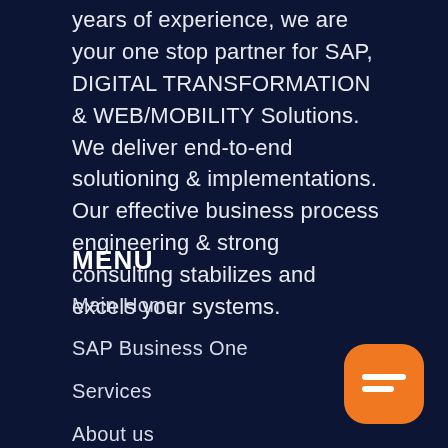years of experience, we are your one stop partner for SAP, DIGITAL TRANSFORMATION & WEB/MOBILITY Solutions. We deliver end-to-end solutioning & implementations. Our effective business process engineering & strong consulting stabilizes and excels your systems.
MENU
Main Home
SAP Business One
Services
About us
[Figure (illustration): Orange rounded square chat bubble icon with a white speech/message icon in the center]